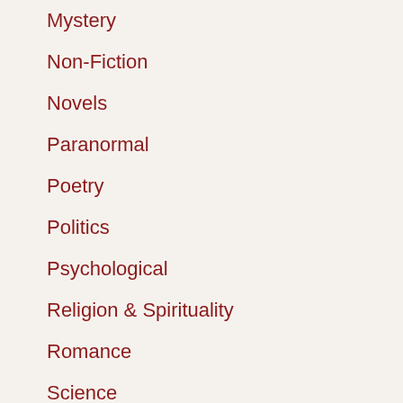Mystery
Non-Fiction
Novels
Paranormal
Poetry
Politics
Psychological
Religion & Spirituality
Romance
Science
Science fiction
Self help
Sports
Suspense
[Figure (photo): Book cover: Intent: In the Shadows - a YA thriller with a person standing in front of a building at night]
[Figure (photo): Book cover: High Bluffs - a romantic thriller, partially visible]
Intent: In the Shadows: A YA Christ...
High Bluffs: romantic th... b...
Newer Post
Share this: